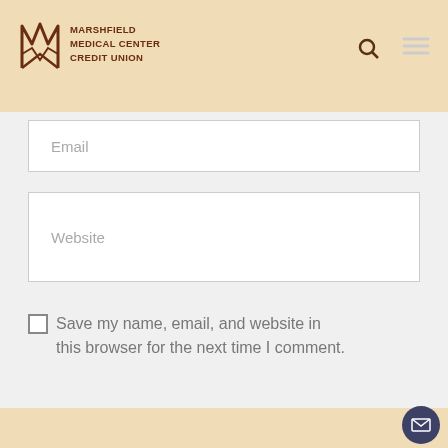[Figure (logo): Marshfield Medical Center Credit Union logo with stylized M graphic and text]
Email
Website
Save my name, email, and website in this browser for the next time I comment.
POST COMMENT